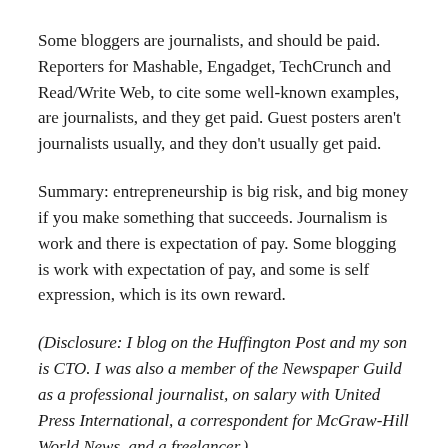Some bloggers are journalists, and should be paid. Reporters for Mashable, Engadget, TechCrunch and Read/Write Web, to cite some well-known examples, are journalists, and they get paid. Guest posters aren't journalists usually, and they don't usually get paid.
Summary: entrepreneurship is big risk, and big money if you make something that succeeds. Journalism is work and there is expectation of pay. Some blogging is work with expectation of pay, and some is self expression, which is its own reward.
(Disclosure: I blog on the Huffington Post and my son is CTO. I was also a member of the Newspaper Guild as a professional journalist, on salary with United Press International, a correspondent for McGraw-Hill World News, and a freelancer.)
View all 4 comments